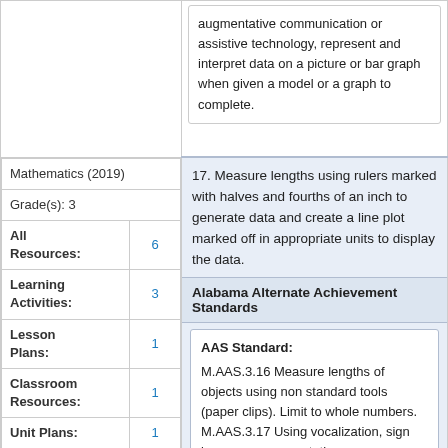augmentative communication or assistive technology, represent and interpret data on a picture or bar graph when given a model or a graph to complete.
Mathematics (2019)
Grade(s): 3
All Resources: 6
Learning Activities: 3
Lesson Plans: 1
Classroom Resources: 1
Unit Plans: 1
17. Measure lengths using rulers marked with halves and fourths of an inch to generate data and create a line plot marked off in appropriate units to display the data.
Alabama Alternate Achievement Standards
AAS Standard: M.AAS.3.16 Measure lengths of objects using non standard tools (paper clips). Limit to whole numbers. M.AAS.3.17 Using vocalization, sign language, augmentative communication or assistive technology, represent and interpret data on a picture or bar graph when given a model or a graph to complete.